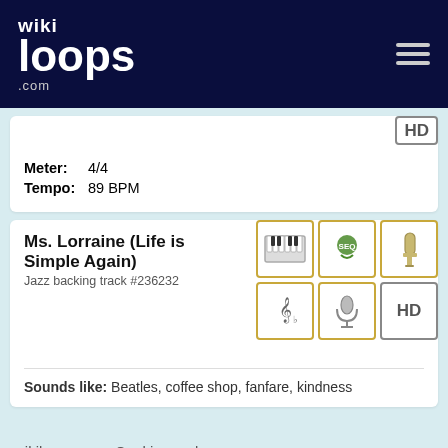wikiloops.com
Meter: 4/4
Tempo: 89 BPM
Ms. Lorraine (Life is Simple Again)
Jazz backing track #236232
Sounds like: Beatles, coffee shop, fanfare, kindness
wikiloops uses Cookies and processes data in compliance with the GDPR, as stated in our data privacy policy ..